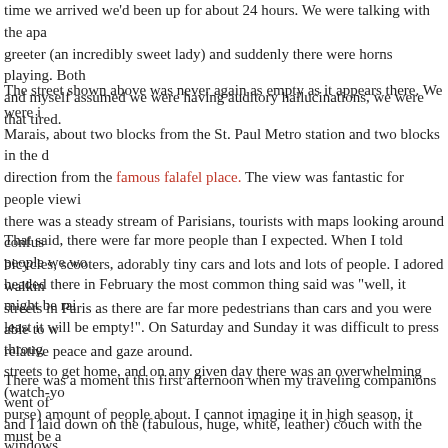time we arrived we'd been up for about 24 hours. We were talking with the apartment greeter (an incredibly sweet lady) and suddenly there were horns playing. Both and myself assumed we were having auditory hallucinations, we were that tired.
The street shown above was never again as empty as it appears there. We were in Marais, about two blocks from the St. Paul Metro station and two blocks in the direction from the famous falafel place. The view was fantastic for people viewing there was a steady stream of Parisians, tourists with maps looking around confusedly, bicycles, scooters, adorably tiny cars and lots and lots of people. I adored walking streets in Paris as there are far more pedestrians than cars and you were able to walk in relative peace and gaze around.
That said, there were far more people than I expected. When I told people we were headed there in February the most common thing said was "well, it might be rainy, at least it will be empty!". On Saturday and Sunday it was difficult to press through the streets to get home, and on any given day there was an overwhelming (watch-your-purse) amount of people about. I cannot imagine it in high season, it must be a nightmare.
There was a moment this first afternoon when my traveling companions went off and I laid down on the (fabulous, huge, white, leather) couch with the windows open. All I could hear was the occasional scooter engine, soft conversation and lots of muted footfalls. It was magical and not a sound I'm likely to hear in the